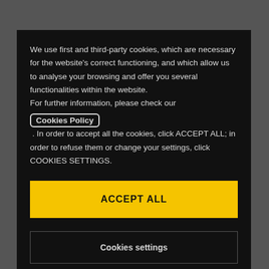We use first and third-party cookies, which are necessary for the website's correct functioning, and which allow us to analyse your browsing and offer you several functionalities within the website.
For further information, please check our Cookies Policy . In order to accept all the cookies, click ACCEPT ALL; in order to refuse them or change your settings, click COOKIES SETTINGS.
ACCEPT ALL
Cookies settings